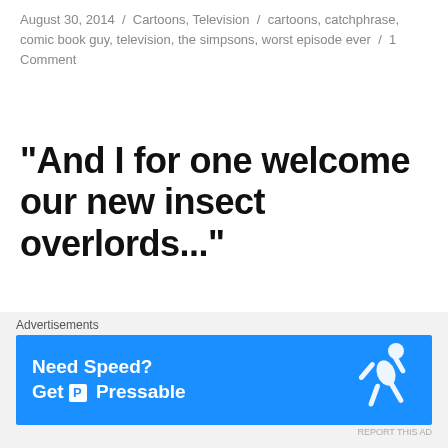August 30, 2014 / Cartoons, Television / cartoons, catchphrase, comic book guy, television, the simpsons, worst episode ever / 1 Comment
“And I for one welcome our new insect overlords...”
From: The Simpsons
Genre: Cartoons, Television
Who said it?: Kent Brockman
[Figure (other): Advertisement banner: Need Speed? Get Pressable. Blue background with a running figure silhouette.]